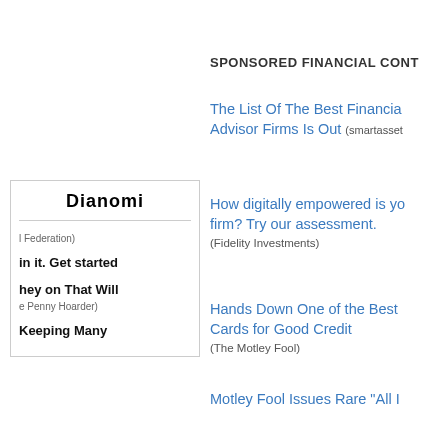SPONSORED FINANCIAL CONT...
The List Of The Best Financial Advisor Firms Is Out (smartasset...)
How digitally empowered is your firm? Try our assessment. (Fidelity Investments)
Hands Down One of the Best Cards for Good Credit (The Motley Fool)
Motley Fool Issues Rare "All I..."
[Figure (logo): Dianomi logo in bold italic text]
l Federation)
in it. Get started
hey on That Will
e Penny Hoarder)
Keeping Many